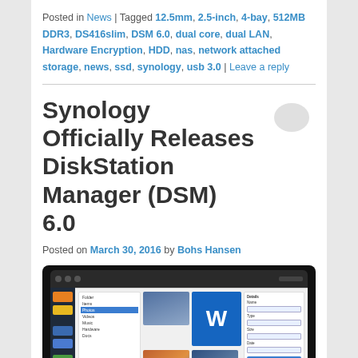Posted in News | Tagged 12.5mm, 2.5-inch, 4-bay, 512MB DDR3, DS416slim, DSM 6.0, dual core, dual LAN, Hardware Encryption, HDD, nas, network attached storage, news, ssd, synology, usb 3.0 | Leave a reply
Synology Officially Releases DiskStation Manager (DSM) 6.0
Posted on March 30, 2016 by Bohs Hansen
[Figure (screenshot): Screenshot of DiskStation Manager (DSM) 6.0 interface showing file manager with folder sidebar, image thumbnails, a Word document icon, and a settings/form panel on the right, displayed on a dark laptop screen]